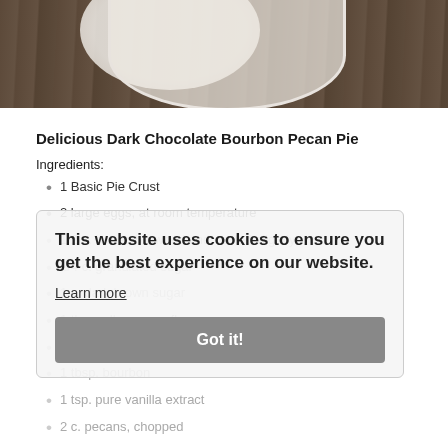[Figure (photo): Photo of a dark chocolate bourbon pecan pie on a white plate on a dark wood table, cropped at top]
Delicious Dark Chocolate Bourbon Pecan Pie
Ingredients:
1 Basic Pie Crust
2 large eggs, at room temperature
1/2 c. butter, browned and cooled slightly
1/4 c. granulated sugar
1 c. dark brown sugar
1 tbsp. all-purpose flour
1/2 c. whole milk
1 tbsp. bourbon
1 tsp. pure vanilla extract
2 c. pecans, chopped
4 oz. dark chocolate, chopped
This website uses cookies to ensure you get the best experience on our website. Learn more Got it!